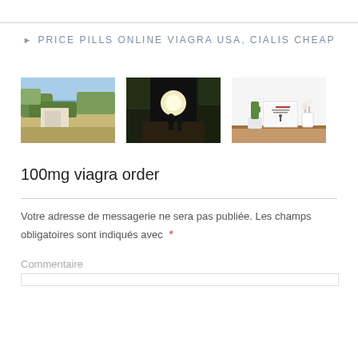PRICE PILLS ONLINE VIAGRA USA, CIALIS CHEAP
[Figure (photo): Landscape photo showing rocky cliffs with green scrubland vegetation under a blue sky]
[Figure (photo): Dark tunnel or cave with a person silhouetted against a bright light, surrounded by foliage]
[Figure (photo): White book covers stacked on a wooden shelf with a small cactus plant and white vase]
100mg viagra order
Votre adresse de messagerie ne sera pas publiée. Les champs obligatoires sont indiqués avec *
Commentaire